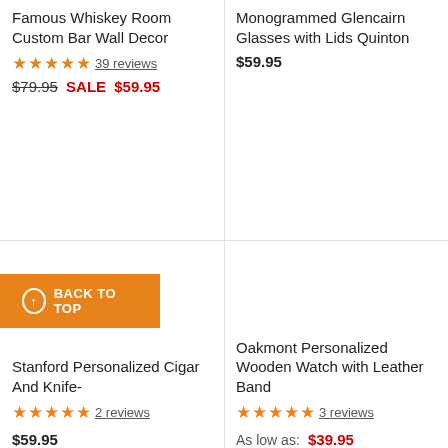Famous Whiskey Room Custom Bar Wall Decor
★★★★★ 39 reviews
$79.95 SALE $59.95
Monogrammed Glencairn Glasses with Lids Quinton
$59.95
[Figure (other): Product image area for Stanford Personalized Cigar Box]
Stanford Personalized Cigar Box ... And Knife-
★★★★★ 2 reviews
$59.95
[Figure (other): Product image area for Oakmont Personalized Wooden Watch]
Oakmont Personalized Wooden Watch with Leather Band
★★★★★ 3 reviews
As low as: $39.95